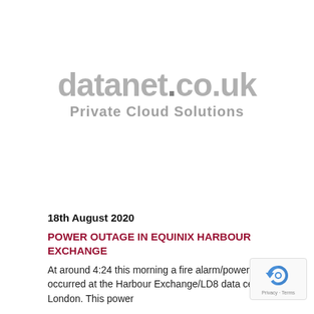[Figure (logo): datanet.co.uk Private Cloud Solutions logo in grey]
18th August 2020
POWER OUTAGE IN EQUINIX HARBOUR EXCHANGE
At around 4:24 this morning a fire alarm/power outage occurred at the Harbour Exchange/LD8 data centre in London.  This power